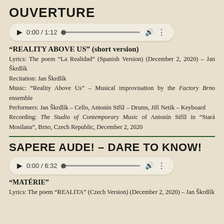OUVERTURE
[Figure (other): Audio player showing 0:00 / 1:12]
“REALITY ABOVE US” (short version)
Lyrics: The poem “La Realidad” (Spanish Version) (December 2, 2020) – Jan Škrdlík
Recitation: Jan Škrdlík
Music: “Reality Above Us” – Musical improvisation by the Factory Brno ensemble
Performers: Jan Škrdlík – Cello, Antonín Stříž – Drums, Jiří Netík – Keyboard
Recording: The Studio of Contemporary Music of Antonín Stříž in “Stará Mosilana”, Brno, Czech Republic, December 2, 2020
SAPERE AUDE! – DARE TO KNOW!
[Figure (other): Audio player showing 0:00 / 6:32]
“MATÉRIE”
Lyrics: The poem “REALITA” (Czech Version) (December 2, 2020) – Jan Škrdlík